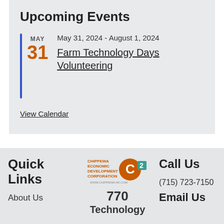Upcoming Events
May 31, 2024 - August 1, 2024
Farm Technology Days Volunteering
View Calendar
[Figure (logo): Chippewa Economic Development Corporation logo with C2 mark and website www.chippewa-wi.com]
Quick Links
About Us
770 Technology
Call Us
(715) 723-7150
Email Us